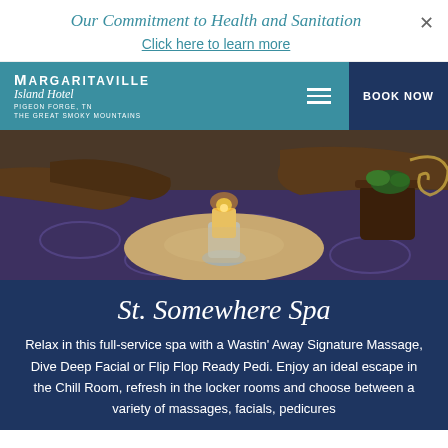Our Commitment to Health and Sanitation
Click here to learn more
[Figure (logo): Margaritaville Island Hotel logo — Pigeon Forge, TN, The Great Smoky Mountains. Navigation bar with hamburger menu and BOOK NOW button on dark blue background.]
[Figure (photo): Interior spa lounge photo showing leather chaise lounge chairs, patterned carpet, a round coffee table with a lit candle in a glass holder, and a decorative plant on a dark wood side table.]
St. Somewhere Spa
Relax in this full-service spa with a Wastin' Away Signature Massage, Dive Deep Facial or Flip Flop Ready Pedi. Enjoy an ideal escape in the Chill Room, refresh in the locker rooms and choose between a variety of massages, facials, pedicures